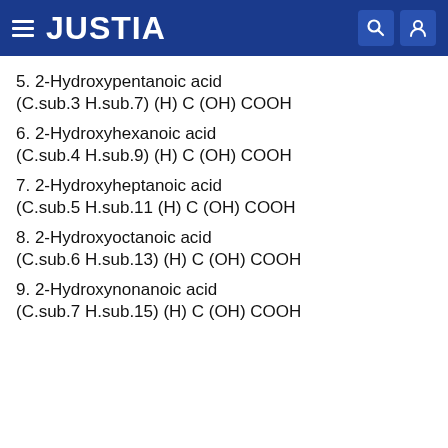JUSTIA
5. 2-Hydroxypentanoic acid
(C.sub.3 H.sub.7) (H) C (OH) COOH
6. 2-Hydroxyhexanoic acid
(C.sub.4 H.sub.9) (H) C (OH) COOH
7. 2-Hydroxyheptanoic acid
(C.sub.5 H.sub.11 (H) C (OH) COOH
8. 2-Hydroxyoctanoic acid
(C.sub.6 H.sub.13) (H) C (OH) COOH
9. 2-Hydroxynonanoic acid
(C.sub.7 H.sub.15) (H) C (OH) COOH